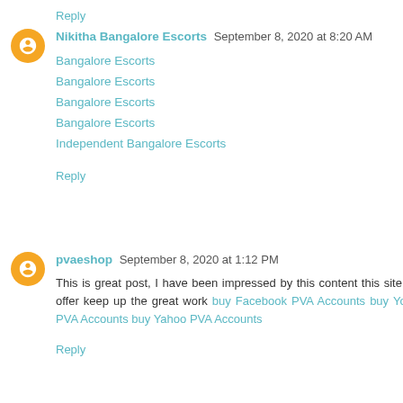Reply
Nikitha Bangalore Escorts  September 8, 2020 at 8:20 AM
Bangalore Escorts
Bangalore Escorts
Bangalore Escorts
Bangalore Escorts
Independent Bangalore Escorts
Reply
pvaeshop  September 8, 2020 at 1:12 PM
This is great post, I have been impressed by this content this site has to offer keep up the great work buy Facebook PVA Accounts buy YouTube PVA Accounts buy Yahoo PVA Accounts
Reply